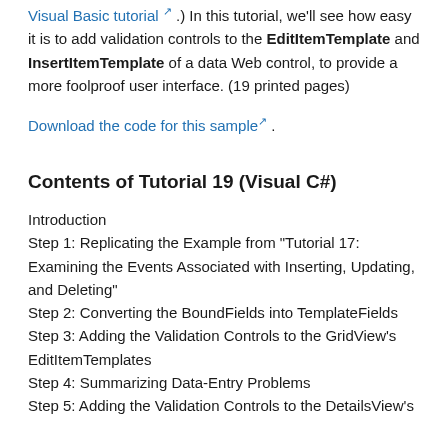Visual Basic tutorial ↗ .) In this tutorial, we'll see how easy it is to add validation controls to the EditItemTemplate and InsertItemTemplate of a data Web control, to provide a more foolproof user interface. (19 printed pages)
Download the code for this sample ↗ .
Contents of Tutorial 19 (Visual C#)
Introduction
Step 1: Replicating the Example from "Tutorial 17: Examining the Events Associated with Inserting, Updating, and Deleting"
Step 2: Converting the BoundFields into TemplateFields
Step 3: Adding the Validation Controls to the GridView's EditItemTemplates
Step 4: Summarizing Data-Entry Problems
Step 5: Adding the Validation Controls to the DetailsView's